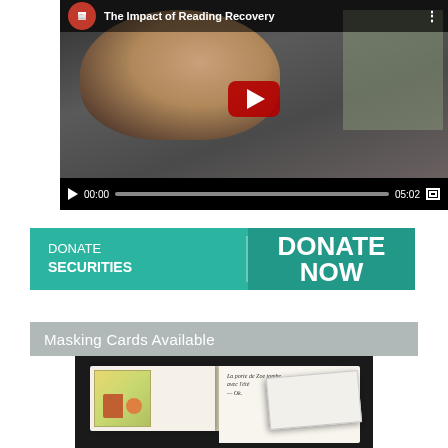[Figure (screenshot): YouTube video embed showing 'The Impact of Reading Recovery' with a child in a classroom. Video duration shown as 05:02, current time 00:00. Large red play button in center.]
[Figure (infographic): Teal banner with two sections: left side says 'DONATE SECURITIES', right side says 'DONATE NOW' in large white bold text on slightly darker teal background.]
Masking Cards Available
[Figure (photo): Photo of an open book with an illustrated children's picture book on black background. Text visible on right page: 'La porte de Zoe tombe avec l'été — Ok' with a masking card overlaid on top.]